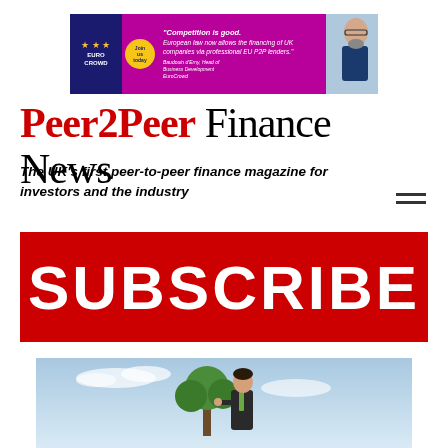[Figure (photo): EuroCrowd advertisement banner with purple/magenta background, logo, join button, and quote about EU P2P lending]
Peer2Peer Finance News
The UK's first peer-to-peer finance magazine for investors and the industry
[Figure (infographic): Red SUBSCRIBE banner button]
[Figure (photo): Businessman in suit planting or tending to a small tree against a sky background]